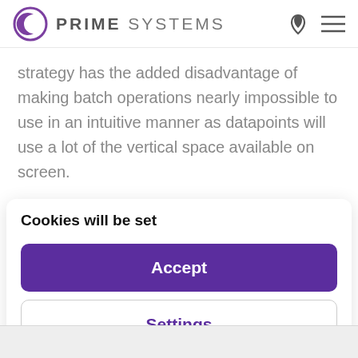PRIME SYSTEMS
strategy has the added disadvantage of making batch operations nearly impossible to use in an intuitive manner as datapoints will use a lot of the vertical space available on screen.
Cookies will be set
Accept
Settings